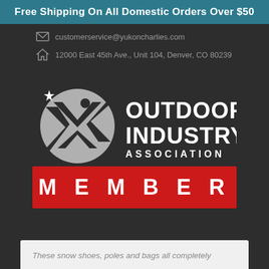Free Shipping On All Domestic Orders Over $50
customerservice@yukoncharlies.com
12000 East 45th Ave., Unit 104, Denver, CO 80239
[Figure (logo): Outdoor Industry Association Member logo — circular figure with star, text OUTDOOR INDUSTRY. ASSOCIATION, red MEMBER banner below]
These snow shoes, poles and bags all completely